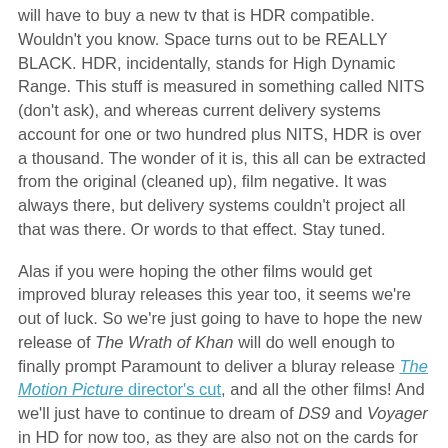will have to buy a new tv that is HDR compatible. Wouldn't you know. Space turns out to be REALLY BLACK. HDR, incidentally, stands for High Dynamic Range. This stuff is measured in something called NITS (don't ask), and whereas current delivery systems account for one or two hundred plus NITS, HDR is over a thousand. The wonder of it is, this all can be extracted from the original (cleaned up), film negative. It was always there, but delivery systems couldn't project all that was there. Or words to that effect. Stay tuned.
Alas if you were hoping the other films would get improved bluray releases this year too, it seems we're out of luck. So we're just going to have to hope the new release of The Wrath of Khan will do well enough to finally prompt Paramount to deliver a bluray release The Motion Picture director's cut, and all the other films! And we'll just have to continue to dream of DS9 and Voyager in HD for now too, as they are also not on the cards for the time being.